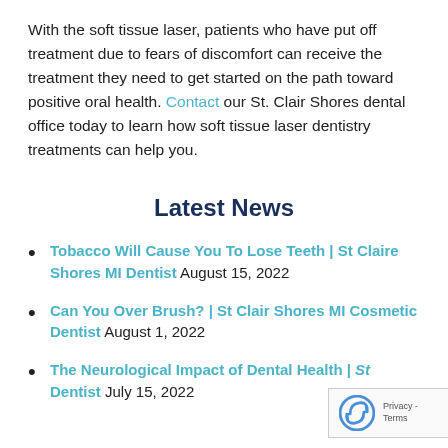With the soft tissue laser, patients who have put off treatment due to fears of discomfort can receive the treatment they need to get started on the path toward positive oral health. Contact our St. Clair Shores dental office today to learn how soft tissue laser dentistry treatments can help you.
Latest News
Tobacco Will Cause You To Lose Teeth | St Claire Shores MI Dentist August 15, 2022
Can You Over Brush? | St Clair Shores MI Cosmetic Dentist August 1, 2022
The Neurological Impact of Dental Health | ... Dentist July 15, 2022